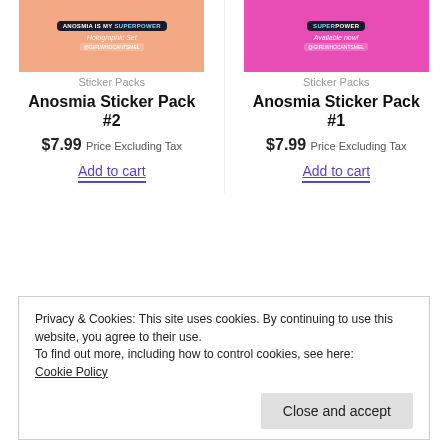[Figure (photo): Anosmia Sticker Pack #2 product image - pink/salmon background with 'Anosmia is my SUPERPOWER' badge and holographic stickers]
Sticker Packs
Anosmia Sticker Pack #2
$7.99 Price Excluding Tax
Add to cart
[Figure (photo): Anosmia Sticker Pack #1 product image - bright pink background with 'SUPERPOWER' badge and 'Available now!' text]
Sticker Packs
Anosmia Sticker Pack #1
$7.99 Price Excluding Tax
Add to cart
Privacy & Cookies: This site uses cookies. By continuing to use this website, you agree to their use.
To find out more, including how to control cookies, see here:
Cookie Policy
Close and accept